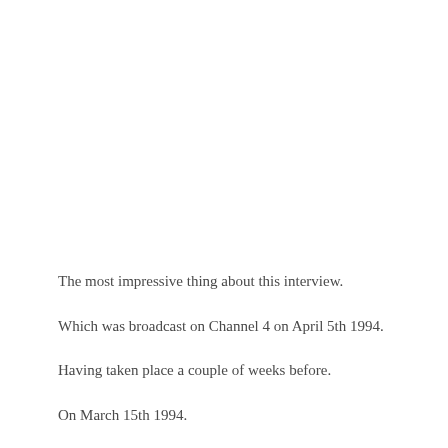The most impressive thing about this interview.
Which was broadcast on Channel 4 on April 5th 1994.
Having taken place a couple of weeks before.
On March 15th 1994.